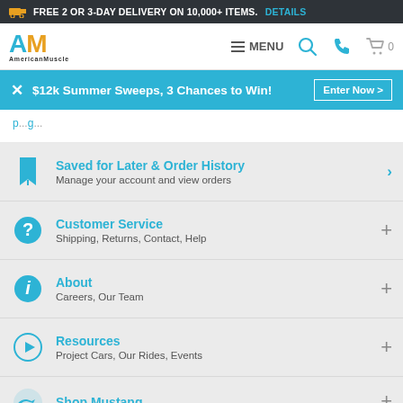🚚 FREE 2 OR 3-DAY DELIVERY ON 10,000+ ITEMS. DETAILS
[Figure (screenshot): AmericanMuscle logo with navigation bar showing MENU, search, phone and cart icons]
$12k Summer Sweeps, 3 Chances to Win! Enter Now >
Saved for Later & Order History - Manage your account and view orders
Customer Service - Shipping, Returns, Contact, Help
About - Careers, Our Team
Resources - Project Cars, Our Rides, Events
Shop Mustang